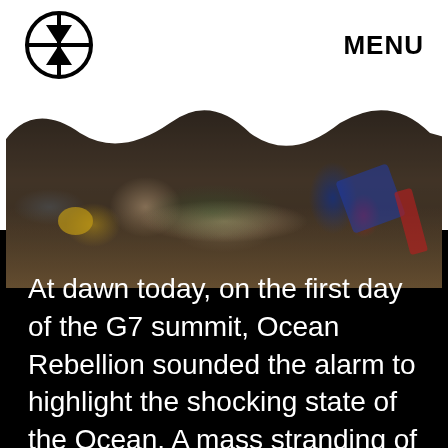MENU
[Figure (photo): A person dressed as a mermaid lying on sand, tangled in fishing nets, surrounded by discarded debris including blue plastic and a red brush, photographed at dusk or dawn]
At dawn today, on the first day of the G7 summit, Ocean Rebellion sounded the alarm to highlight the shocking state of the Ocean. A mass stranding of mermaids, tangled in discarded trawler nets, washed up on a